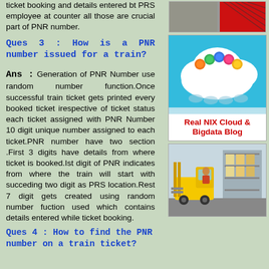ticket booking and details entered bt PRS employee at counter all those are crucial part of PNR number.
Ques 3 : How is a PNR number issued for a train?
Ans : Generation of PNR Number use random number function.Once successful train ticket gets printed every booked ticket irespective of ticket status each ticket assigned with PNR Number 10 digit unique number assigned to each ticket.PNR number have two section .First 3 digits have details from where ticket is booked.Ist digit of PNR indicates from where the train will start with succeding two digit as PRS location.Rest 7 digit gets created using random number fuction used which contains details entered while ticket booking.
Ques 4 : How to find the PNR number on a train ticket?
[Figure (photo): Red and grey image in top right]
[Figure (illustration): Cloud with colorful gears/icons above, teal background, white banner below reading Real NIX Cloud & Bigdata Blog]
[Figure (photo): Forklift in a warehouse]